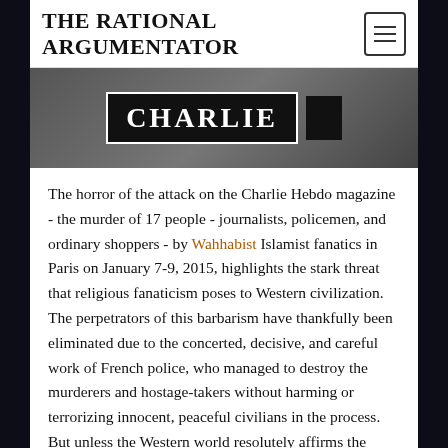THE RATIONAL ARGUMENTATOR
[Figure (photo): Partial image showing the Charlie Hebdo magazine logo/cover in black and white, with bold lettering on dark background]
The horror of the attack on the Charlie Hebdo magazine - the murder of 17 people - journalists, policemen, and ordinary shoppers - by Wahhabist Islamist fanatics in Paris on January 7-9, 2015, highlights the stark threat that religious fanaticism poses to Western civilization. The perpetrators of this barbarism have thankfully been eliminated due to the concerted, decisive, and careful work of French police, who managed to destroy the murderers and hostage-takers without harming or terrorizing innocent, peaceful civilians in the process. But unless the Western world resolutely affirms the untrammeled right of free